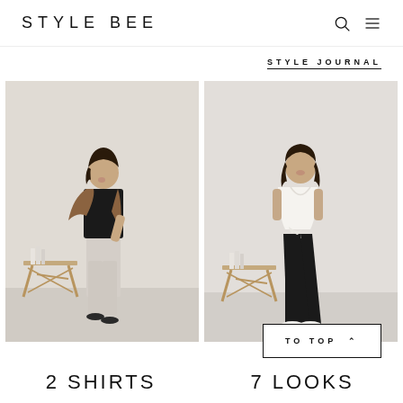STYLE BEE
STYLE JOURNAL
[Figure (photo): Two fashion photos side by side: left shows a woman in black top, brown vest, beige trousers and black sandals; right shows a woman in white tied top, black wide-leg trousers and white flats, both against a white wall with a wooden stool]
TO TOP ^
2 SHIRTS  7 LOOKS